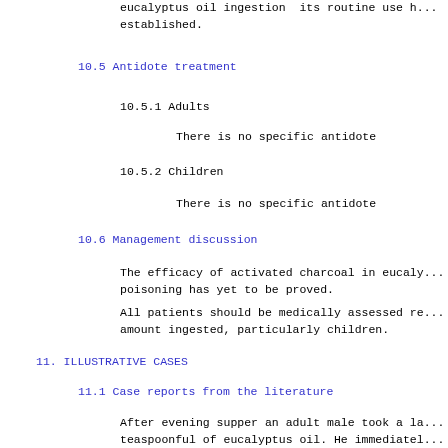eucalyptus oil ingestion  its routine use h... established.
10.5 Antidote treatment
10.5.1 Adults
There is no specific antidote
10.5.2 Children
There is no specific antidote
10.6 Management discussion
The efficacy of activated charcoal in eucaly... poisoning has yet to be proved.
All patients should be medically assessed re... amount ingested, particularly children.
11. ILLUSTRATIVE CASES
11.1 Case reports from the literature
After evening supper an adult male took a la... teaspoonful of eucalyptus oil. He immediatel... oesophageal pain followed by gasping for bre... restlessness, convulsive movements of his ha... semicomatose passing to coma. Vomiting was i... him becoming comatose and he gradually recov...